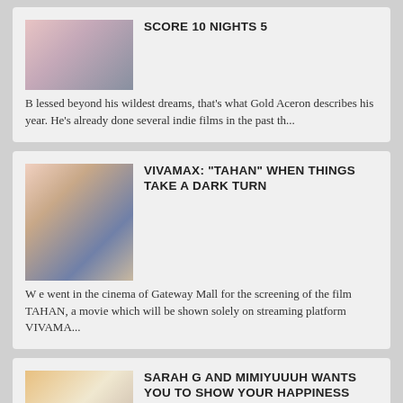SCORE 10 NIGHTS 5
B lessed beyond his wildest dreams, that's what Gold Aceron describes his year. He's already done several indie films in the past th...
VIVAMAX: "TAHAN" WHEN THINGS TAKE A DARK TURN
W e went in the cinema of Gateway Mall for the screening of the film TAHAN, a movie which will be shown solely on streaming platform VIVAMA...
SARAH G AND MIMIYUUUH WANTS YOU TO SHOW YOUR HAPPINESS WITH TNT